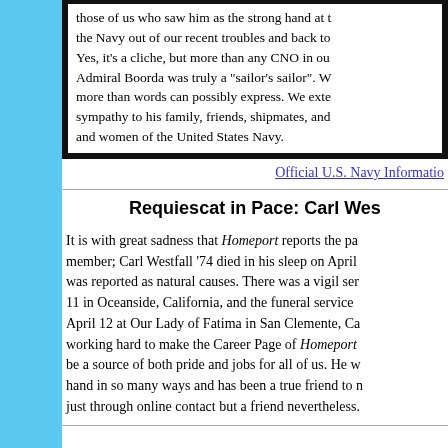those of us who saw him as the strong hand at the helm to lead the Navy out of our recent troubles and back to greatness. Yes, it's a cliche, but more than any CNO in our memory, Admiral Boorda was truly a "sailor's sailor". We will miss him more than words can possibly express. We extend our deepest sympathy to his family, friends, shipmates, and all of the men and women of the United States Navy.
Official U.S. Navy Information
Requiescat in Pace: Carl Wes...
It is with great sadness that Homeport reports the passing of a member; Carl Westfall '74 died in his sleep on April... was reported as natural causes. There was a vigil ser... 11 in Oceanside, California, and the funeral service ... April 12 at Our Lady of Fatima in San Clemente, Ca... working hard to make the Career Page of Homeport... be a source of both pride and jobs for all of us. He w... hand in so many ways and has been a true friend to m... just through online contact but a friend nevertheless.